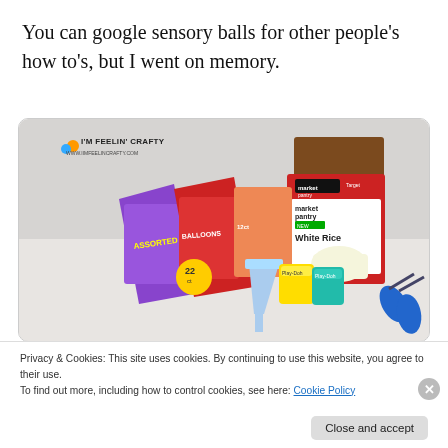You can google sensory balls for other people's how to's, but I went on memory.
[Figure (photo): A crafting supplies photo showing balloon packs, Play-Doh containers, a funnel, a box of Market Pantry White Rice, and blue scissors arranged on a white surface. Watermark reads I'M FEELIN' CRAFTY / WWW.IIMFEELINCRAFTY.COM]
Privacy & Cookies: This site uses cookies. By continuing to use this website, you agree to their use.
To find out more, including how to control cookies, see here: Cookie Policy
Close and accept